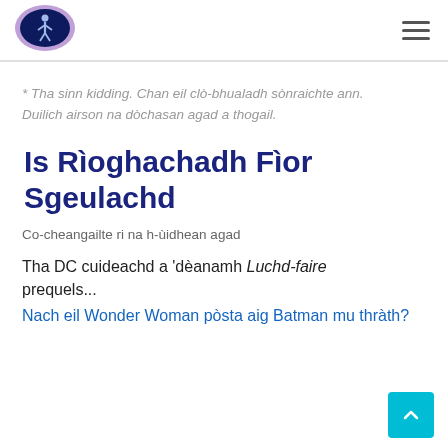[Figure (logo): Oval logo with dark blue background and figure silhouette, purple/blue oval border]
[Figure (other): Hamburger menu icon (three horizontal lines)]
* Tha sinn kidding. Chan eil clò-bhualadh sònraichte ann. Duilich airson na dòchasan agad a thogail.
Is Rìoghachadh Fìor Sgeulachd
Co-cheangailte ri na h-ùidhean agad
Tha DC cuideachd a 'dèanamh Luchd-faire prequels...
Nach eil Wonder Woman pòsta aig Batman mu thràth?